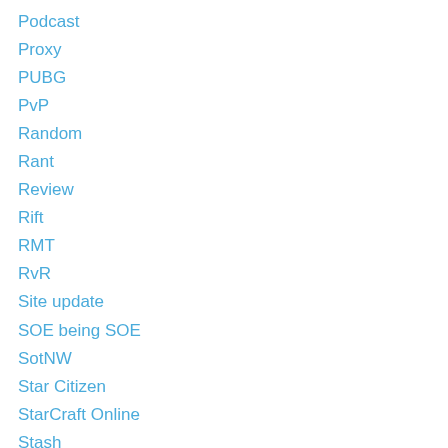Podcast
Proxy
PUBG
PvP
Random
Rant
Review
Rift
RMT
RvR
Site update
SOE being SOE
SotNW
Star Citizen
StarCraft Online
Stash
Steam Stuff
SW:TOR
The Casualties Guild
The Elder Scrolls Online